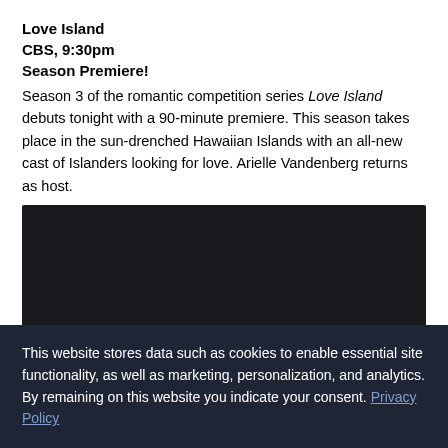Love Island
CBS, 9:30pm
Season Premiere!
Season 3 of the romantic competition series Love Island debuts tonight with a 90-minute premiere. This season takes place in the sun-drenched Hawaiian Islands with an all-new cast of Islanders looking for love. Arielle Vandenberg returns as host.
[Figure (photo): Dark/black image placeholder for a video embed or photo]
This website stores data such as cookies to enable essential site functionality, as well as marketing, personalization, and analytics. By remaining on this website you indicate your consent. Privacy Policy